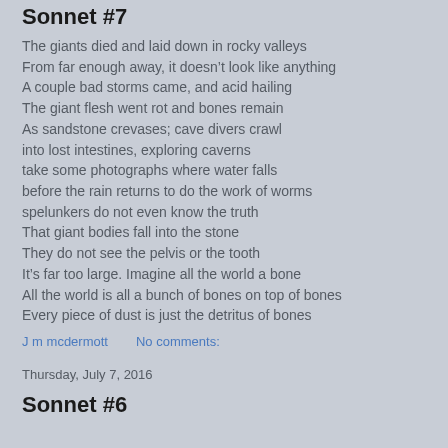Sonnet #7
The giants died and laid down in rocky valleys
From far enough away, it doesn’t look like anything
A couple bad storms came, and acid hailing
The giant flesh went rot and bones remain
As sandstone crevases; cave divers crawl
into lost intestines, exploring caverns
take some photographs where water falls
before the rain returns to do the work of worms
spelunkers do not even know the truth
That giant bodies fall into the stone
They do not see the pelvis or the tooth
It’s far too large. Imagine all the world a bone
All the world is all a bunch of bones on top of bones
Every piece of dust is just the detritus of bones
J m mcdermott    No comments:
Thursday, July 7, 2016
Sonnet #6